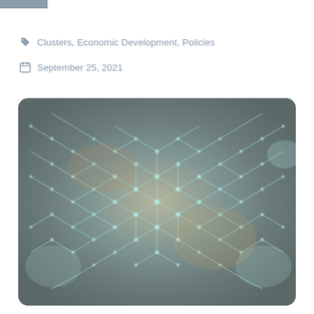Clusters, Economic Development, Policies
September 25, 2021
[Figure (illustration): Abstract network visualization showing interconnected hexagonal nodes with glowing blue-cyan connections on a dark grayish-brown background, resembling a molecular or cluster network structure.]